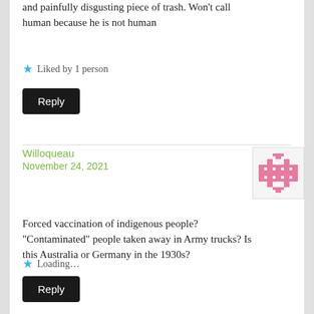and painfully disgusting piece of trash. Won't call human because he is not human
Liked by 1 person
Reply
Willoqueau
November 24, 2021
Forced vaccination of indigenous people? "Contaminated" people taken away in Army trucks? Is this Australia or Germany in the 1930s?
Loading...
Reply
thetruthnotdoctrine
November 24, 2021